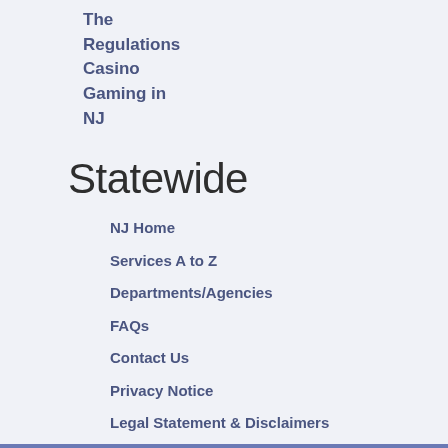The Regulations Casino Gaming in NJ
Statewide
NJ Home
Services A to Z
Departments/Agencies
FAQs
Contact Us
Privacy Notice
Legal Statement & Disclaimers
Accessibility Statement